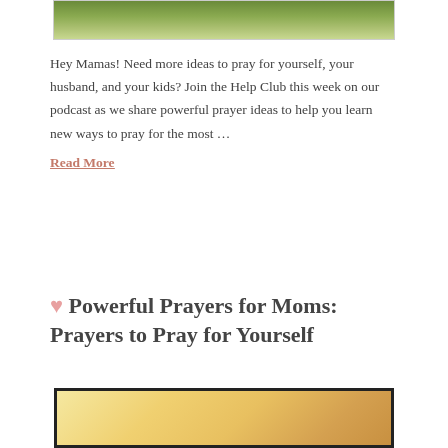[Figure (photo): Top portion of a photo showing green grass or field background, partially cropped at the top of the page]
Hey Mamas! Need more ideas to pray for yourself, your husband, and your kids? Join the Help Club this week on our podcast as we share powerful prayer ideas to help you learn new ways to pray for the most …
Read More
🤍 Powerful Prayers for Moms: Prayers to Pray for Yourself
[Figure (photo): Bottom portion of an image with warm golden/yellow tones, partially cropped at the bottom of the page, appears to show a soft floral or light background]